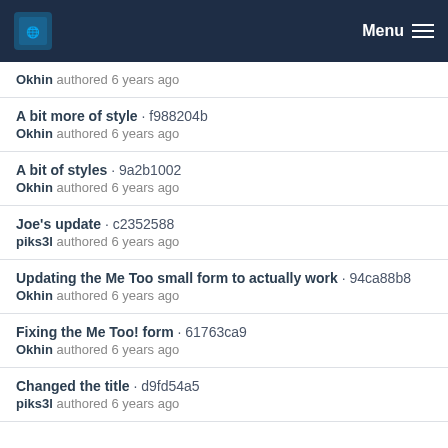Menu
Okhin authored 6 years ago
A bit more of style · f988204b
Okhin authored 6 years ago
A bit of styles · 9a2b1002
Okhin authored 6 years ago
Joe's update · c2352588
piks3l authored 6 years ago
Updating the Me Too small form to actually work · 94ca88b8
Okhin authored 6 years ago
Fixing the Me Too! form · 61763ca9
Okhin authored 6 years ago
Changed the title · d9fd54a5
piks3l authored 6 years ago